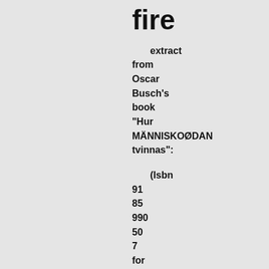fire
extract from Oscar Busch's book "Hur MÄNNISKOØDAN tvinnas":
(Isbn 91 85 990 50 7 for 3.opplaget - Stockholm, 1984)
"I woke